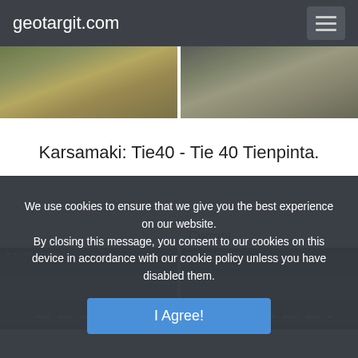geotargit.com
[Figure (photo): Two side-by-side traffic/road camera images showing grassy roadside area]
Karsamaki: Tie40 - Tie 40 Tienpinta.
Current
[Figure (photo): Two side-by-side traffic camera images showing a road surface with lane markings]
We use cookies to ensure that we give you the best experience on our website. By closing this message, you consent to our cookies on this device in accordance with our cookie policy unless you have disabled them.
I Agree!